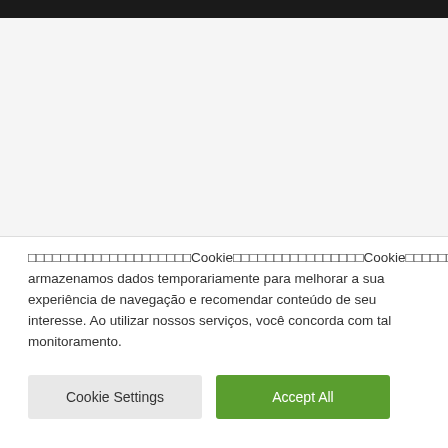[Figure (screenshot): Dark top navigation bar and large white/light gray content area representing a webpage screenshot]
□□□□□□□□□□□□□□□□□□□□Cookie□□□□□□□□□□□□□□□□Cookie□□□□□□□□□□□□Nós armazenamos dados temporariamente para melhorar a sua experiência de navegação e recomendar conteúdo de seu interesse. Ao utilizar nossos serviços, você concorda com tal monitoramento.
Cookie Settings
Accept All